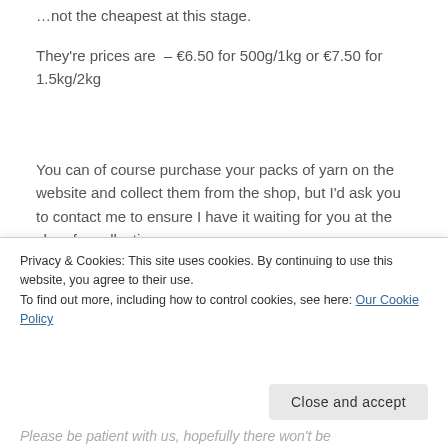…not the cheapest at this stage.
They're prices are  – €6.50 for 500g/1kg or €7.50 for 1.5kg/2kg
You can of course purchase your packs of yarn on the website and collect them from the shop, but I'd ask you to contact me to ensure I have it waiting for you at the shop for collection.
We'll see how it works, maybe it will go so smoothly that I can be persuaded to look at running with a
Privacy & Cookies: This site uses cookies. By continuing to use this website, you agree to their use.
To find out more, including how to control cookies, see here: Our Cookie Policy
Close and accept
Please be patient with us, hopefully there won't be